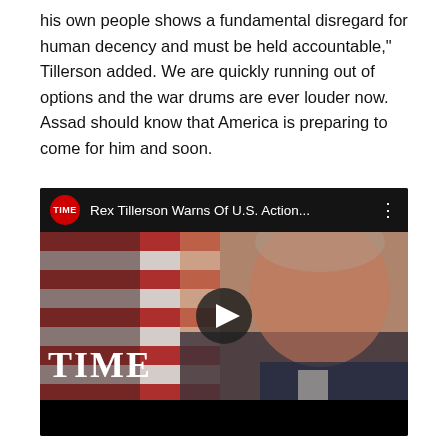his own people shows a fundamental disregard for human decency and must be held accountable," Tillerson added. We are quickly running out of options and the war drums are ever louder now. Assad should know that America is preparing to come for him and soon.
[Figure (screenshot): Screenshot of a TIME magazine YouTube video embed titled 'Rex Tillerson Warns Of U.S. Action...' showing Rex Tillerson speaking in front of an American flag, with the TIME logo in the bottom left and a play button overlaid in the center.]